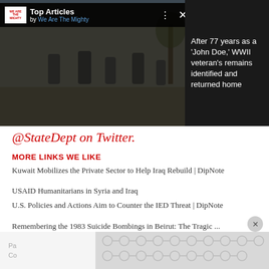[Figure (screenshot): Video player showing WWII black and white footage with soldiers. Top Articles panel by We Are The Mighty overlaid on left. Right dark panel shows text about WWII veteran's remains identification.]
@StateDept on Twitter.
MORE LINKS WE LIKE
Kuwait Mobilizes the Private Sector to Help Iraq Rebuild | DipNote
USAID Humanitarians in Syria and Iraq
U.S. Policies and Actions Aim to Counter the IED Threat | DipNote
Remembering the 1983 Suicide Bombings in Beirut: The Tragic ...